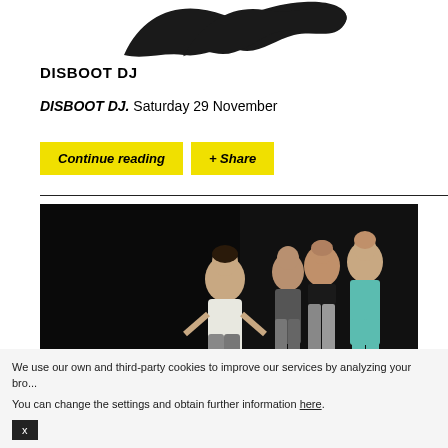[Figure (logo): Black silhouette bird/wing logo partially visible at top of page]
DISBOOT DJ
DISBOOT DJ. Saturday 29 November
Continue reading   + Share
[Figure (photo): Three women dancers holding hands standing in front of a black background. Woman on left wears white tank top and grey pants, middle woman wears black sports bra, woman on right wears teal/turquoise top.]
We use our own and third-party cookies to improve our services by analyzing your bro... You can change the settings and obtain further information here.